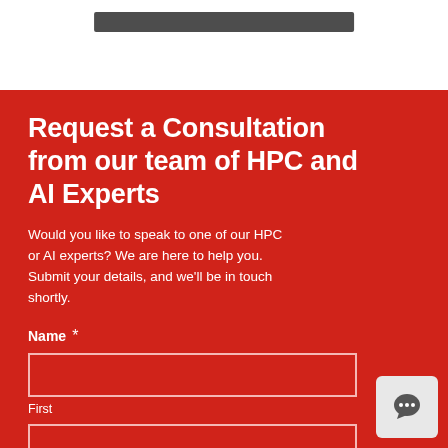Request a Consultation from our team of HPC and AI Experts
Would you like to speak to one of our HPC or AI experts? We are here to help you. Submit your details, and we'll be in touch shortly.
Name *
First